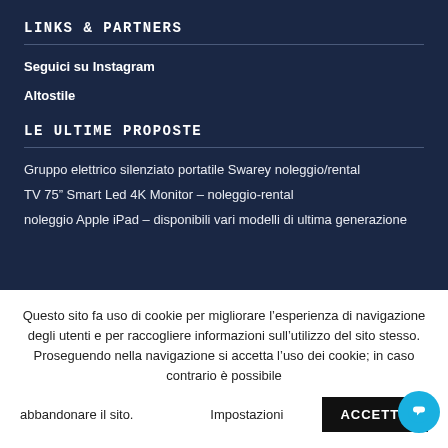LINKS & PARTNERS
Seguici su Instagram
Altostile
LE ULTIME PROPOSTE
Gruppo elettrico silenziato portatile Swarey noleggio/rental
TV 75” Smart Led 4K Monitor – noleggio-rental
noleggio Apple iPad – disponibili vari modelli di ultima generazione
Questo sito fa uso di cookie per migliorare l’esperienza di navigazione degli utenti e per raccogliere informazioni sull’utilizzo del sito stesso. Proseguendo nella navigazione si accetta l’uso dei cookie; in caso contrario è possibile abbandonare il sito.
Impostazioni
ACCETTO